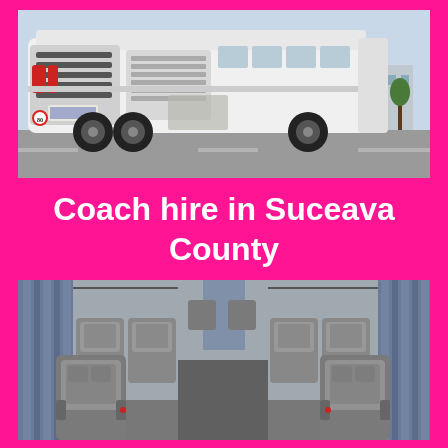[Figure (photo): Rear exterior view of a large white touring coach/bus parked on a road, with buildings and trees visible in the background.]
Coach hire in Suceava County
[Figure (photo): Interior view of a luxury coach showing rows of grey padded passenger seats with blue curtains on the windows.]